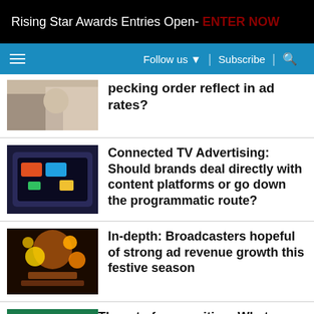Rising Star Awards Entries Open- ENTER NOW
Follow us ▼ | Subscribe | 🔍
pecking order reflect in ad rates?
Connected TV Advertising: Should brands deal directly with content platforms or go down the programmatic route?
In-depth: Broadcasters hopeful of strong ad revenue growth this festive season
The art of copywriting: What makes an impactful ad copy?